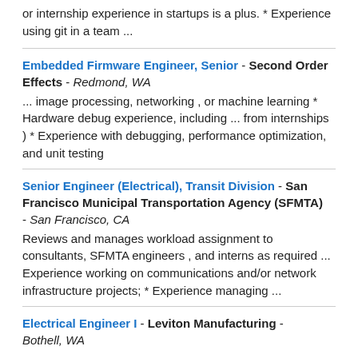or internship experience in startups is a plus. * Experience using git in a team ...
Embedded Firmware Engineer, Senior - Second Order Effects - Redmond, WA
... image processing, networking , or machine learning * Hardware debug experience, including ... from internships ) * Experience with debugging, performance optimization, and unit testing
Senior Engineer (Electrical), Transit Division - San Francisco Municipal Transportation Agency (SFMTA) - San Francisco, CA
Reviews and manages workload assignment to consultants, SFMTA engineers , and interns as required ... Experience working on communications and/or network infrastructure projects; * Experience managing ...
Electrical Engineer I - Leviton Manufacturing - Bothell, WA